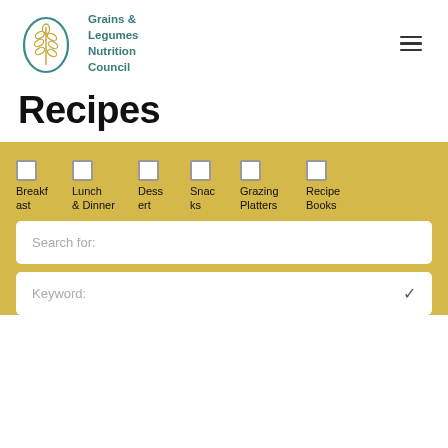Grains & Legumes Nutrition Council
Recipes
[Figure (screenshot): Filter panel with checkboxes for Breakfast, Lunch & Dinner, Dessert, Snacks, Grazing Platters, Recipe Books, a Search for text field, and a Keyword dropdown]
Breakfast
Lunch & Dinner
Dessert
Snacks
Grazing Platters
Recipe Books